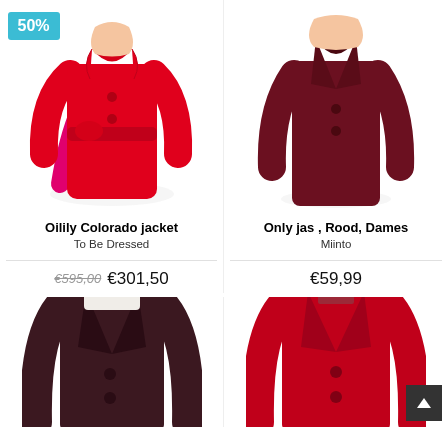[Figure (photo): Red belted Oilily Colorado jacket with bow tie, on white background, with 50% discount badge]
Oilily Colorado jacket
To Be Dressed
€595,00  €301,50
[Figure (photo): Dark burgundy/red women's coat (Only jas) on white background]
Only jas , Rood, Dames
Miinto
€59,99
[Figure (photo): Dark burgundy/maroon women's blazer coat, partially visible at bottom]
[Figure (photo): Red women's coat, partially visible at bottom right]